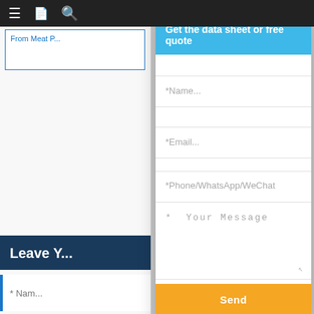≡  [icon]  🔍
From Meat P...
Leave Y...
* Nam...
* Emai...
Phone...
* Enter ... and ot... quote.
Get the data sheet or free quote
*Name...
*Email...
*Phone/WhatsApp/WeChat
* Your Message
Send